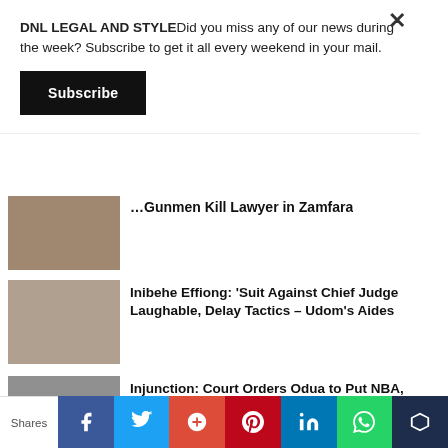DNL LEGAL AND STYLEDid you miss any of our news during the week? Subscribe to get it all every weekend in your mail.
Subscribe
…Gunmen Kill Lawyer in Zamfara
Inibehe Effiong: 'Suit Against Chief Judge Laughable, Delay Tactics – Udom's Aides
Injunction: Court Orders Odua to Put NBA, Others on Notice, Adjourns to August 23
Shares